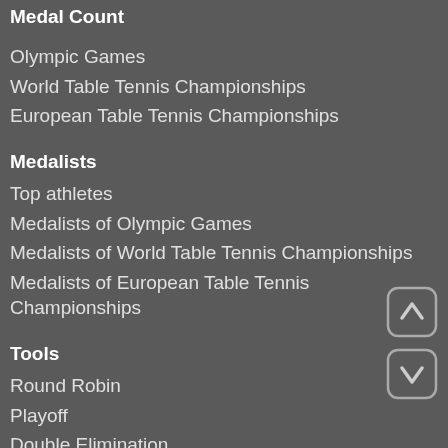Medal Count
Olympic Games
World Table Tennis Championships
European Table Tennis Championships
Medalists
Top athletes
Medalists of Olympic Games
Medalists of World Table Tennis Championships
Medalists of European Table Tennis Championships
Tools
Round Robin
Playoff
Double Elimination
Progressive system
Team match